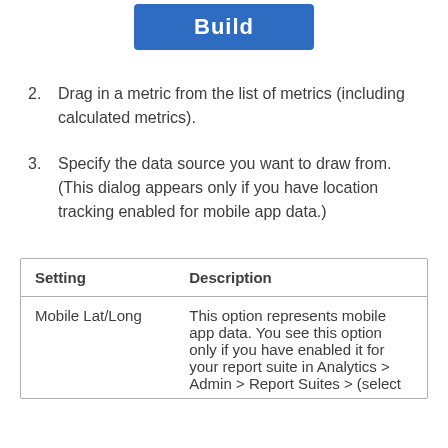[Figure (screenshot): Blue 'Build' button]
2. Drag in a metric from the list of metrics (including calculated metrics).
3. Specify the data source you want to draw from. (This dialog appears only if you have location tracking enabled for mobile app data.)
| Setting | Description |
| --- | --- |
| Mobile Lat/Long | This option represents mobile app data. You see this option only if you have enabled it for your report suite in Analytics > Admin > Report Suites > (select |